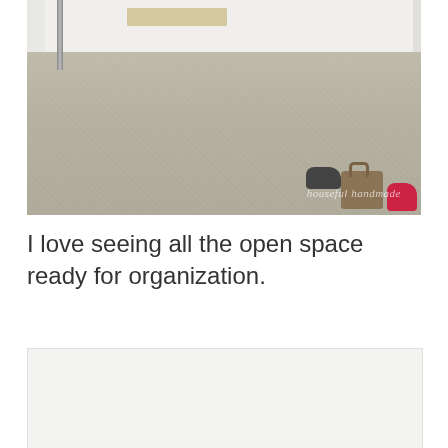[Figure (photo): Interior closet or room photo showing beige/tan carpet floor with white walls. A metal pole or rod is visible on the left, a wooden shelf bracket on the upper center-left. In the upper right corner, shoes and a brown bag are scattered on the floor. A watermark reads 'houseful handmade' in the lower right of the image.]
I love seeing all the open space ready for organization.
[Figure (photo): Partial view of a second photo, mostly white/light colored, cut off at bottom of page.]